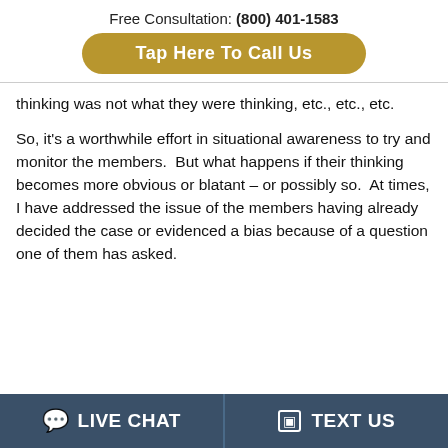Free Consultation: (800) 401-1583
Tap Here To Call Us
thinking was not what they were thinking, etc., etc., etc.
So, it's a worthwhile effort in situational awareness to try and monitor the members.  But what happens if their thinking becomes more obvious or blatant – or possibly so.  At times, I have addressed the issue of the members having already decided the case or evidenced a bias because of a question one of them has asked.
LIVE CHAT   TEXT US